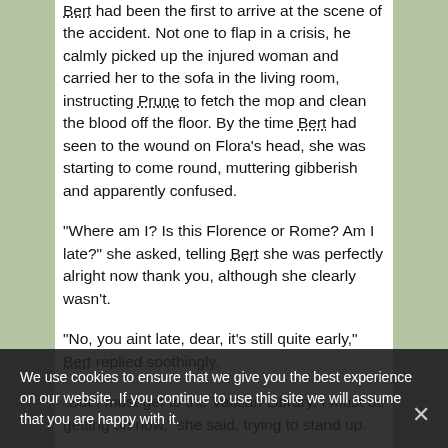Bert had been the first to arrive at the scene of the accident. Not one to flap in a crisis, he calmly picked up the injured woman and carried her to the sofa in the living room, instructing Prune to fetch the mop and clean the blood off the floor. By the time Bert had seen to the wound on Flora's head, she was starting to come round, muttering gibberish and apparently confused.
"Where am I? Is this Florence or Rome? Am I late?" she asked, telling Bert she was perfectly alright now thank you, although she clearly wasn't.
"No, you aint late, dear, it's still quite early," Bert replied soothingly.
"But I must get to the Vatican Library, I must be getting on now," she said, trying to stand up.
Bert sat her firmly back down before saying "Have a nice cup of tea first, plenty of time for that later."
"What the dickens is going on now?" asked Mater. "What's all this about Rome? Anyone seen
We use cookies to ensure that we give you the best experience on our website. If you continue to use this site we will assume that you are happy with it.